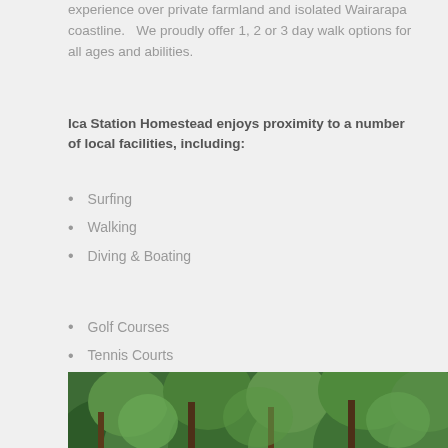experience over private farmland and isolated Wairarapa coastline.   We proudly offer 1, 2 or 3 day walk options for all ages and abilities.
Ica Station Homestead enjoys proximity to a number of local facilities, including:
Surfing
Walking
Diving & Boating
Golf Courses
Tennis Courts
Swimming
[Figure (photo): Outdoor garden/forest scene with lush green trees and foliage]